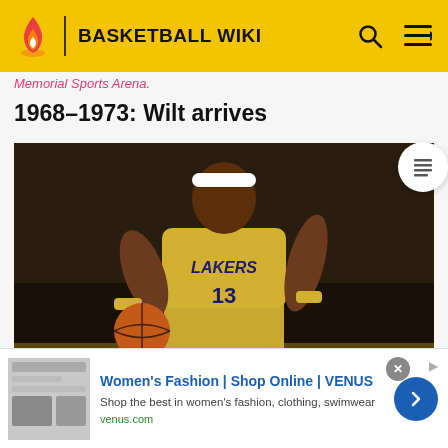BASKETBALL WIKI
Memorial Sports Arena.
1968–1973: Wilt arrives
[Figure (photo): Wilt Chamberlain in a Los Angeles Lakers yellow jersey number 13, wearing a white headband, dribbling a basketball during a game.]
Women's Fashion | Shop Online | VENUS — Shop the best in women's fashion, clothing, swimwear — venus.com